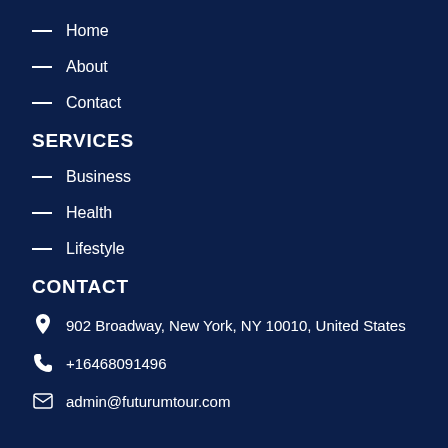— Home
— About
— Contact
SERVICES
— Business
— Health
— Lifestyle
CONTACT
902 Broadway, New York, NY 10010, United States
+16468091496
admin@futurumtour.com